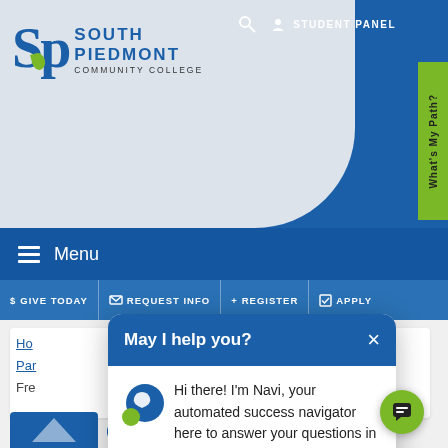[Figure (screenshot): South Piedmont Community College website screenshot showing header with logo, navigation menu bar, action bar with Give Today, Request Info, Register, Apply links, breadcrumb navigation, and a chatbot popup saying 'May I help you?' from Navi the automated success navigator.]
STUDENT PANEL
SOUTH PIEDMONT COMMUNITY COLLEGE
Menu
$ GIVE TODAY   ✉ REQUEST INFO   + REGISTER   ☑ APPLY
What's My Path?
May I help you?
Hi there! I'm Navi, your automated success navigator here to answer your questions in English or Spanish. What would you like to know?